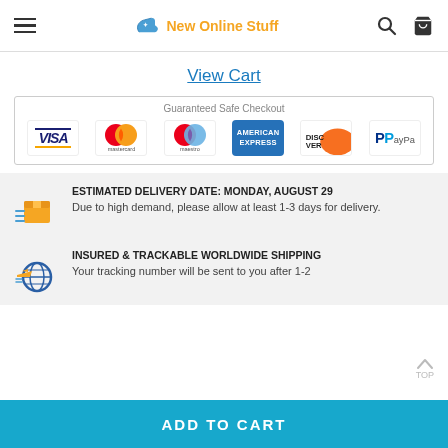New Online Stuff
View Cart
Guaranteed Safe Checkout
[Figure (logo): Payment method logos: VISA, Mastercard, Maestro, American Express, Discover, PayPal]
ESTIMATED DELIVERY DATE: MONDAY, AUGUST 29
Due to high demand, please allow at least 1-3 days for delivery.
INSURED & TRACKABLE WORLDWIDE SHIPPING
Your tracking number will be sent to you after 1-2